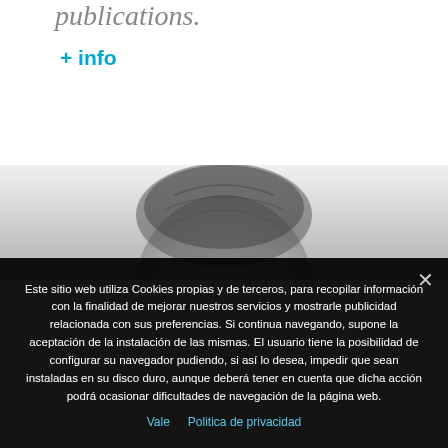publications.
+ info
[Figure (photo): Partial view of a person's head (top/hair area) in grayscale, cropped so only the top of the head is visible against a light background.]
Este sitio web utiliza Cookies propias y de terceros, para recopilar información con la finalidad de mejorar nuestros servicios y mostrarle publicidad relacionada con sus preferencias. Si continua navegando, supone la aceptación de la instalación de las mismas. El usuario tiene la posibilidad de configurar su navegador pudiendo, si así lo desea, impedir que sean instaladas en su disco duro, aunque deberá tener en cuenta que dicha acción podrá ocasionar dificultades de navegación de la página web.
Vale   Politica de privacidad